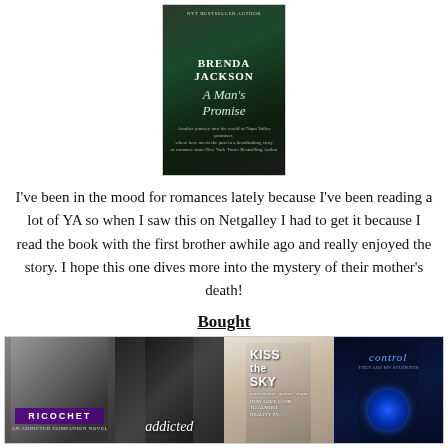[Figure (illustration): Book cover for 'A Man's Promise' by Brenda Jackson, showing a couple in an embrace on a dark green background with the author's name in bold white text and the title in script]
I've been in the mood for romances lately because I've been reading a lot of YA so when I saw this on Netgalley I had to get it because I read the book with the first brother awhile ago and really enjoyed the story. I hope this one dives more into the mystery of their mother's death!
Bought
[Figure (illustration): A collage of four book covers: Ricochet, Addicted, Kiss the Sky, and Control]